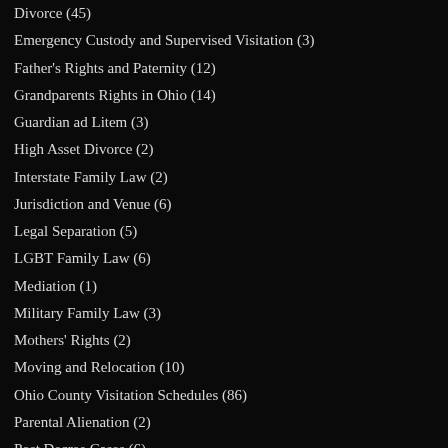Divorce (45)
Emergency Custody and Supervised Visitation (3)
Father's Rights and Paternity (12)
Grandparents Rights in Ohio (14)
Guardian ad Litem (3)
High Asset Divorce (2)
Interstate Family Law (2)
Jurisdiction and Venue (6)
Legal Separation (5)
LGBT Family Law (6)
Mediation (1)
Military Family Law (3)
Mothers' Rights (2)
Moving and Relocation (10)
Ohio County Visitation Schedules (86)
Parental Alienation (2)
Post Decree Cases (6)
Prenuptial Agreements or Antenuptial Agreements (3)
Psychological Evaluations (2)
Shared Parenting (2)
Step-Parent Adoption (1)